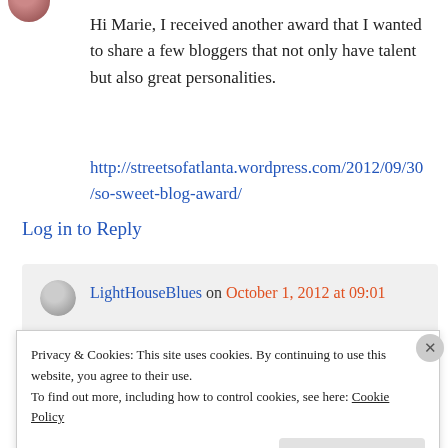[Figure (photo): Partial avatar/profile image at top left, cropped circle]
Hi Marie, I received another award that I wanted to share a few bloggers that not only have talent but also great personalities.
http://streetsofatlanta.wordpress.com/2012/09/30/so-sweet-blog-award/
Log in to Reply
[Figure (photo): Avatar for LightHouseBlues commenter]
LightHouseBlues on October 1, 2012 at 09:01
Privacy & Cookies: This site uses cookies. By continuing to use this website, you agree to their use.
To find out more, including how to control cookies, see here: Cookie Policy
Close and accept